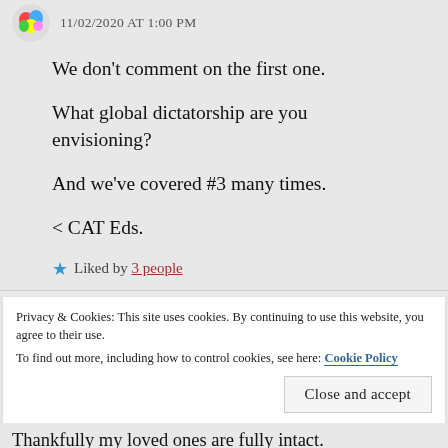11/02/2020 AT 1:00 PM
We don't comment on the first one.
What global dictatorship are you envisioning?
And we've covered #3 many times.
< CAT Eds.
Liked by 3 people
Privacy & Cookies: This site uses cookies. By continuing to use this website, you agree to their use. To find out more, including how to control cookies, see here: Cookie Policy
Close and accept
Thankfully my loved ones are fully intact.